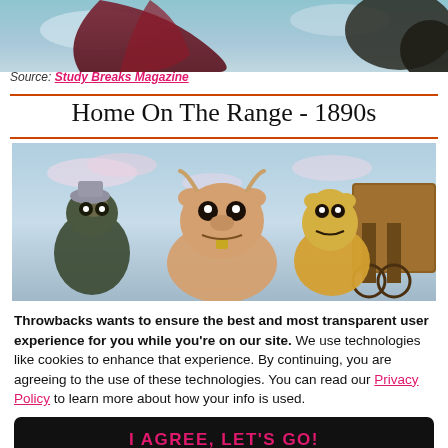[Figure (photo): Top portion of an animated movie screenshot showing a dark red cloak/figure against a teal sky with clouds and dark rocky elements]
Source: Study Breaks Magazine
Home On The Range - 1890s
[Figure (screenshot): Animated movie scene from Home On The Range showing three cartoon cow characters against a blue sky background with a wagon on the right]
Throwbacks wants to ensure the best and most transparent user experience for you while you're on our site. We use technologies like cookies to enhance that experience. By continuing, you are agreeing to the use of these technologies. You can read our Privacy Policy to learn more about how your info is used.
I AGREE, LET'S GO!